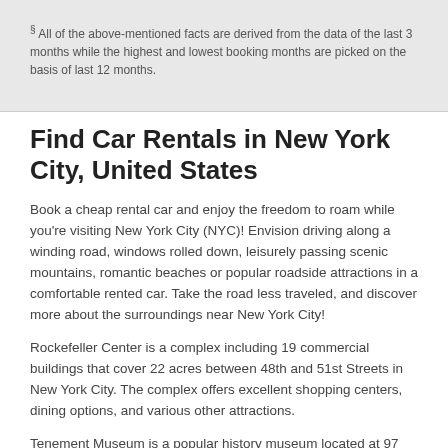§ All of the above-mentioned facts are derived from the data of the last 3 months while the highest and lowest booking months are picked on the basis of last 12 months.
Find Car Rentals in New York City, United States
Book a cheap rental car and enjoy the freedom to roam while you're visiting New York City (NYC)! Envision driving along a winding road, windows rolled down, leisurely passing scenic mountains, romantic beaches or popular roadside attractions in a comfortable rented car. Take the road less traveled, and discover more about the surroundings near New York City!
Rockefeller Center is a complex including 19 commercial buildings that cover 22 acres between 48th and 51st Streets in New York City. The complex offers excellent shopping centers, dining options, and various other attractions.
Tenement Museum is a popular history museum located at 97 Orchard Street in the Lower East Side neighborhood of Manhattan, New York City. Here you will get detailed view of the history of the immigrants living in the New York City...